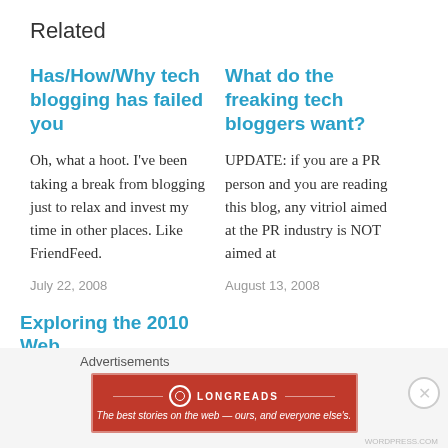Related
Has/How/Why tech blogging has failed you
Oh, what a hoot. I've been taking a break from blogging just to relax and invest my time in other places. Like FriendFeed.
July 22, 2008
What do the freaking tech bloggers want?
UPDATE: if you are a PR person and you are reading this blog, any vitriol aimed at the PR industry is NOT aimed at
August 13, 2008
Exploring the 2010 Web
Advertisements
[Figure (logo): Longreads advertisement banner — red background with Longreads logo and tagline: The best stories on the web — ours, and everyone else's.]